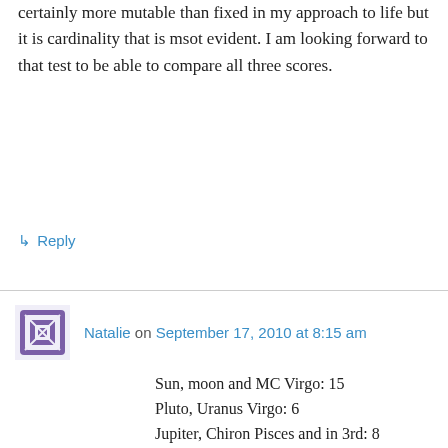certainly more mutable than fixed in my approach to life but it is cardinality that is msot evident. I am looking forward to that test to be able to compare all three scores.
↳ Reply
Natalie on September 17, 2010 at 8:15 am
Sun, moon and MC Virgo: 15
Pluto, Uranus Virgo: 6
Jupiter, Chiron Pisces and in 3rd: 8
Saturn Aq: 1
Merc Lib: 1
Moon score: 5
Mercu score: 4
Nept score: 4